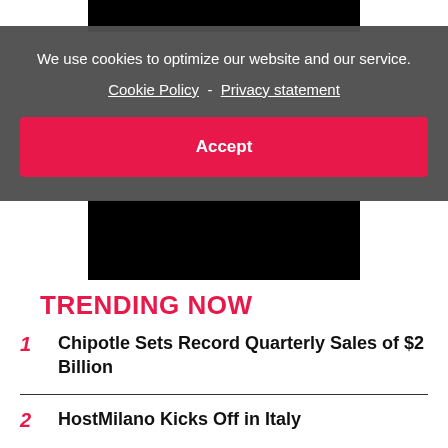[Figure (screenshot): Black image/video area visible behind cookie consent overlay]
We use cookies to optimize our website and our service.
Cookie Policy - Privacy statement
Accept
TRENDING NOW
1 Chipotle Sets Record Quarterly Sales of $2 Billion
2 HostMilano Kicks Off in Italy